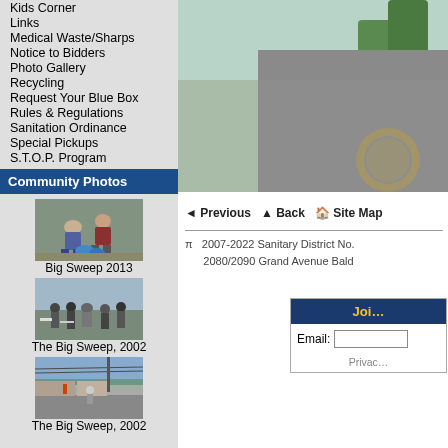Kids Corner
Links
Medical Waste/Sharps
Notice to Bidders
Photo Gallery
Recycling
Request Your Blue Box
Rules & Regulations
Sanitation Ordinance
Special Pickups
S.T.O.P. Program
Community Photos
[Figure (photo): People participating in Big Sweep 2013 cleanup event]
Big Sweep 2013
[Figure (photo): Community gathering at The Big Sweep 2002]
The Big Sweep, 2002
[Figure (photo): Street scene at The Big Sweep 2002]
The Big Sweep, 2002
[Figure (photo): Person in gray shirt with logo, partial view]
◄ Previous   ▲ Back   🏠 Site Map
π   2007-2022 Sanitary District No.  2080/2090 Grand Avenue Bald...
Join
Email:
Privacy